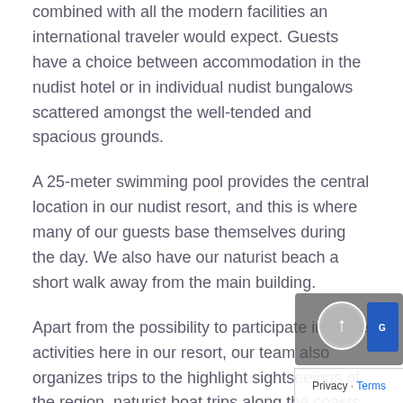combined with all the modern facilities an international traveler would expect. Guests have a choice between accommodation in the nudist hotel or in individual nudist bungalows scattered amongst the well-tended and spacious grounds.
A 25-meter swimming pool provides the central location in our nudist resort, and this is where many of our guests base themselves during the day. We also have our naturist beach a short walk away from the main building.
Apart from the possibility to participate in some activities here in our resort, our team also organizes trips to the highlight sightseeings of the region, naturist boat trips along the coasts and walkings to unique places like which you have never met before.
As a licensed naturist resort we broadly follow the